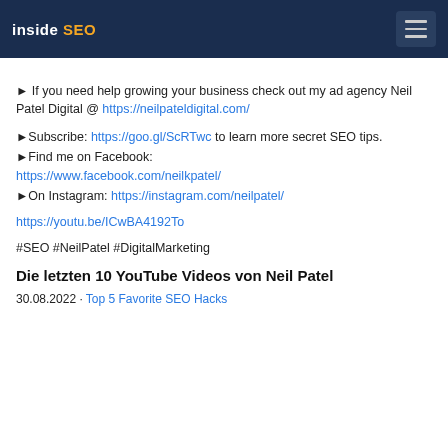inside SEO
► If you need help growing your business check out my ad agency Neil Patel Digital @ https://neilpateldigital.com/
►Subscribe: https://goo.gl/ScRTwc to learn more secret SEO tips.
►Find me on Facebook: https://www.facebook.com/neilkpatel/
►On Instagram: https://instagram.com/neilpatel/
https://youtu.be/ICwBA4192To
#SEO #NeilPatel #DigitalMarketing
Die letzten 10 YouTube Videos von Neil Patel
30.08.2022 · Top 5 Favorite SEO Hacks